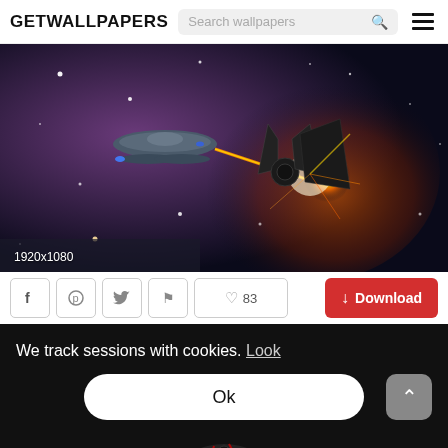GETWALLPAPERS
[Figure (screenshot): Space battle scene showing a Star Trek starship firing a beam at a Star Wars TIE fighter in a colorful nebula background. Resolution label '1920x1080' shown at bottom left.]
1920x1080
♡ 83
↓ Download
We track sessions with cookies. Look
Ok